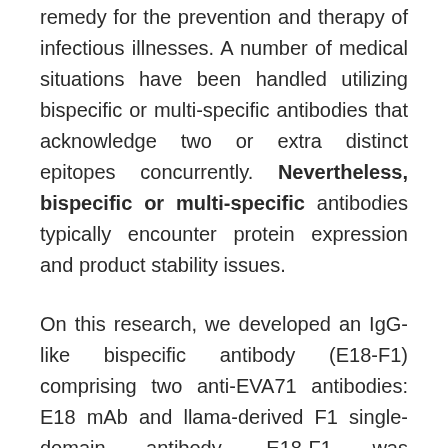remedy for the prevention and therapy of infectious illnesses. A number of medical situations have been handled utilizing bispecific or multi-specific antibodies that acknowledge two or extra distinct epitopes concurrently. Nevertheless, bispecific or multi-specific antibodies typically encounter protein expression and product stability issues.
On this research, we developed an IgG-like bispecific antibody (E18-F1) comprising two anti-EVA71 antibodies: E18 mAb and llama-derived F1 single-domain antibody. E18-F1 was demonstrated to exhibit superior binding affinity and antiviral exercise in contrast with E18 or F1. Moreover, E18-F1 not solely improved survival price, but in addition decreased medical indicators in human